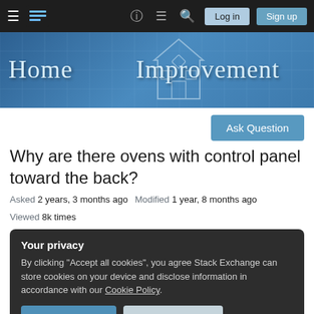Home Improvement - Stack Exchange
[Figure (screenshot): Home Improvement Stack Exchange banner with blueprint-style logo and title text]
Ask Question
Why are there ovens with control panel toward the back?
Asked 2 years, 3 months ago   Modified 1 year, 8 months ago   Viewed 8k times
Your privacy
By clicking "Accept all cookies", you agree Stack Exchange can store cookies on your device and disclose information in accordance with our Cookie Policy.
Accept all cookies   Customize settings
Appliances become unnecessarily dangerous to the…